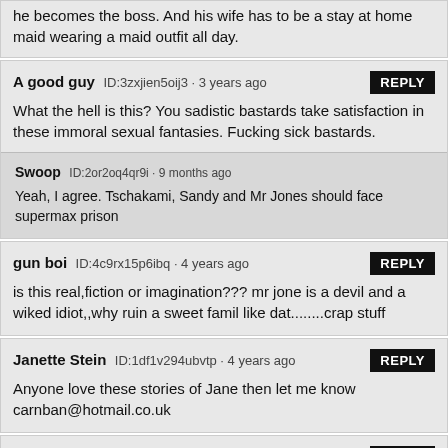he becomes the boss. And his wife has to be a stay at home maid wearing a maid outfit all day.
A good guy ID:3zxjien5oij3 • 3 years ago
What the hell is this? You sadistic bastards take satisfaction in these immoral sexual fantasies. Fucking sick bastards.
Swoop ID:2or2oq4qr9i • 9 months ago
Yeah, I agree. Tschakami, Sandy and Mr Jones should face supermax prison
gun boi ID:4c9rx15p6ibq • 4 years ago
is this real,fiction or imagination??? mr jone is a devil and a wiked idiot,,why ruin a sweet famil like dat........crap stuff
Janette Stein ID:1df1v294ubvtp • 4 years ago
Anyone love these stories of Jane then let me know carnban@hotmail.co.uk
Janette Stein ID:1df1v294ubvtp • 4 years ago
Wow even better, I bet Mr Jones hasn't had the snip, I